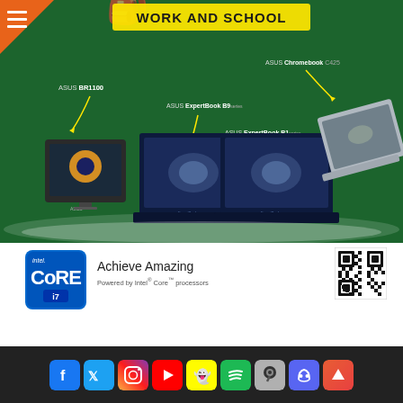[Figure (illustration): ASUS promotional banner for Work and School laptops on green background, showing ASUS BR1100, ASUS ExpertBook B9, ASUS ExpertBook B1, and ASUS Chromebook C425 laptops. Title reads WORK AND SCHOOL in yellow. Hamburger menu icon top-left. Orange arrow top-left corner.]
[Figure (logo): Intel Core i7 badge logo, blue square with intel. CORE i7 text]
Achieve Amazing
Powered by Intel® Core™ processors
[Figure (other): QR code square]
[Figure (infographic): Footer social media icons row: Facebook, Twitter, Instagram, YouTube, Snapchat, Spotify, Steam, Discord, scroll-up button (orange/red)]